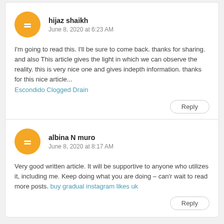hijaz shaikh
June 8, 2020 at 6:23 AM
I'm going to read this. I'll be sure to come back. thanks for sharing. and also This article gives the light in which we can observe the reality. this is very nice one and gives indepth information. thanks for this nice article... Escondido Clogged Drain
Reply
albina N muro
June 8, 2020 at 8:17 AM
Very good written article. It will be supportive to anyone who utilizes it, including me. Keep doing what you are doing – can'r wait to read more posts. buy gradual instagram likes uk
Reply